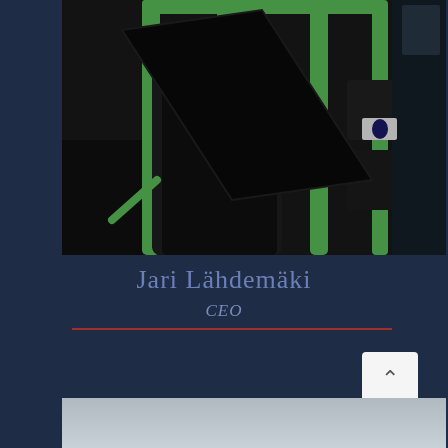[Figure (photo): A man carrying a large flat screen display on a bus or public transport vehicle. He is wearing glasses and a dark sweater. The bus has green metal poles/handles. The interior is dimly lit.]
Jari Lähdemäki
CEO
[Figure (photo): Partial photo visible at the bottom of the page, appears to show a light-colored interior scene, possibly another bus or vehicle interior.]